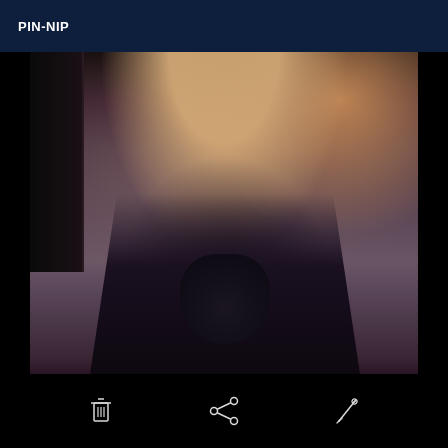PIN-NIP
[Figure (photo): A low-angle photograph showing a person in dark stockings and high-heeled shoes on a carpeted floor]
Toolbar with delete, share, and edit icons